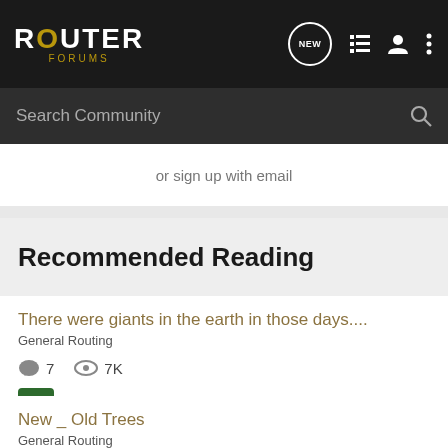ROUTER FORUMS
Search Community
or sign up with email
Recommended Reading
There were giants in the earth in those days....
General Routing
7  7K
Willway · updated Aug 31, 2013
New _ Old Trees
General Routing